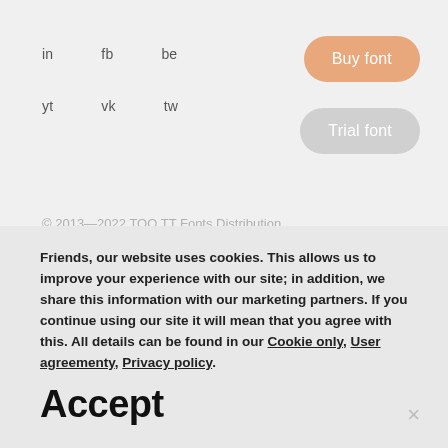in   fb   be
yt   vk   tw
Buy font
Trial font
© 2013—2022 TOO TT Fonts Distribution
Cookies
User agreement
Privacy policy
Friends, our website uses cookies. This allows us to improve your experience with our site; in addition, we share this information with our marketing partners. If you continue using our site it will mean that you agree with this. All details can be found in our Cookie only, User agreementy, Privacy policy.
Accept
×